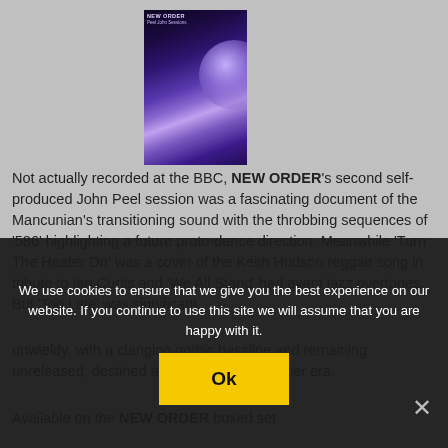[Figure (photo): Album cover for New Order showing a dark purple/blue abstract image with a glowing orb or light source. Small text at top reads 'New Order' and album title.]
Not actually recorded at the BBC, NEW ORDER's second self-produced John Peel session was a fascinating document of the Mancunian's transitioning sound with the throbbing sequences of '586' highlighting a future proto-dance direction. Meanwhile 'Turn The Heater On' was a cover of the Keith Hudson reggae song in tribute to Ian Curtis and 'We All Stand' had avant jazz overtones. But 'Too Late' was significant, unwieldy, with a clanging gothic bassline and remaining unreleased, destined as if a relic from another era.
Available on the NEW ORDER boxed set
We use cookies to ensure that we give you the best experience on our website. If you continue to use this site we will assume that you are happy with it.
Ok